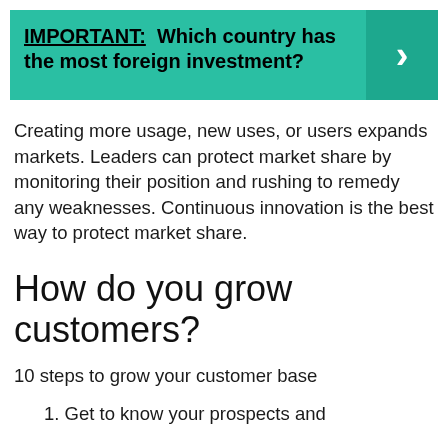[Figure (infographic): Teal banner with bold text: IMPORTANT: Which country has the most foreign investment? with a right arrow button on the right side]
Creating more usage, new uses, or users expands markets. Leaders can protect market share by monitoring their position and rushing to remedy any weaknesses. Continuous innovation is the best way to protect market share.
How do you grow customers?
10 steps to grow your customer base
1. Get to know your prospects and